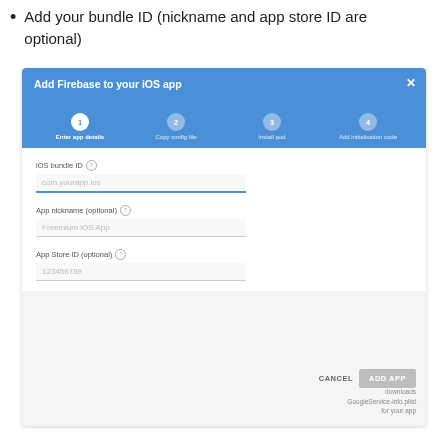Add your bundle ID (nickname and app store ID are optional)
[Figure (screenshot): Screenshot of Firebase 'Add Firebase to your iOS app' dialog with 4 steps: Enter app details (active), Copy config file, Install pod, Add initialisation code. Form fields: iOS bundle ID (com.yourapp.ios), App nickname (optional) (Freemium iOS App), App Store ID (optional) (123456789). Buttons: CANCEL, ADD APP. Note: downloads GoogleService-info.plist for your app.]